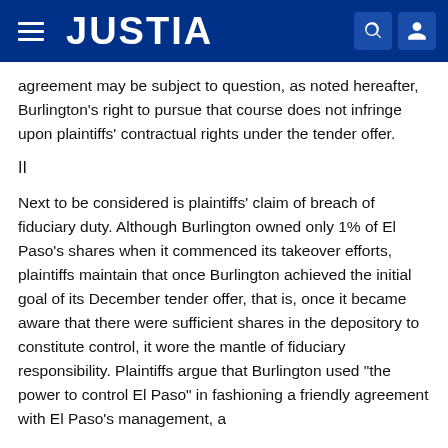JUSTIA
agreement may be subject to question, as noted hereafter, Burlington's right to pursue that course does not infringe upon plaintiffs' contractual rights under the tender offer.
II
Next to be considered is plaintiffs' claim of breach of fiduciary duty. Although Burlington owned only 1% of El Paso's shares when it commenced its takeover efforts, plaintiffs maintain that once Burlington achieved the initial goal of its December tender offer, that is, once it became aware that there were sufficient shares in the depository to constitute control, it wore the mantle of fiduciary responsibility. Plaintiffs argue that Burlington used "the power to control El Paso" in fashioning a friendly agreement with El Paso's management, a